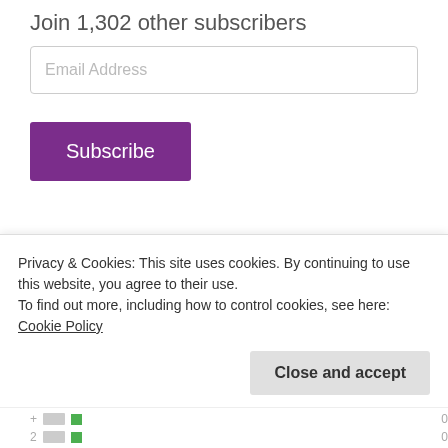Join 1,302 other subscribers
Email Address
Subscribe
Archives
Select Month
Client Posts
Privacy & Cookies: This site uses cookies. By continuing to use this website, you agree to their use.
To find out more, including how to control cookies, see here: Cookie Policy
Close and accept